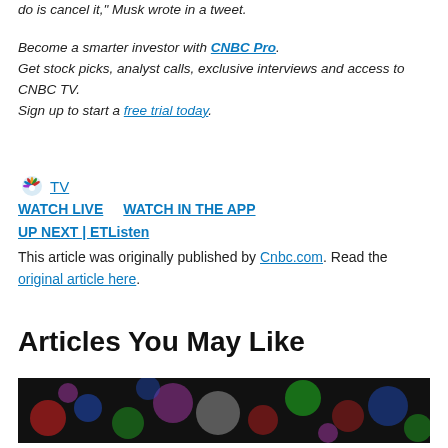do is cancel it," Musk wrote in a tweet.
Become a smarter investor with CNBC Pro. Get stock picks, analyst calls, exclusive interviews and access to CNBC TV. Sign up to start a free trial today.
TV WATCH LIVE   WATCH IN THE APP
UP NEXT | ETListen
This article was originally published by Cnbc.com. Read the original article here.
Articles You May Like
[Figure (photo): Colorful bokeh lights on dark background — decorative article thumbnail image]